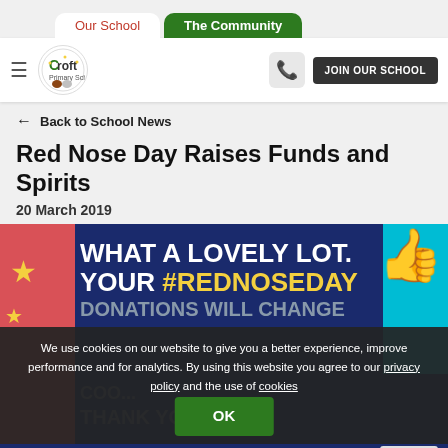Our School | The Community
[Figure (logo): Croft Primary School logo — circular emblem with stylized figures]
JOIN OUR SCHOOL
← Back to School News
Red Nose Day Raises Funds and Spirits
20 March 2019
[Figure (photo): Red Nose Day promotional banner with text: WHAT A LOVELY LOT. YOUR #RedNoseDay DONATIONS WILL CHANGE... THANK YOU, with gold thumbs up icon on right, red accent on left, cyan accent on right]
We use cookies on our website to give you a better experience, improve performance and for analytics. By using this website you agree to our privacy policy and the use of cookies
OK
The White H...ederation